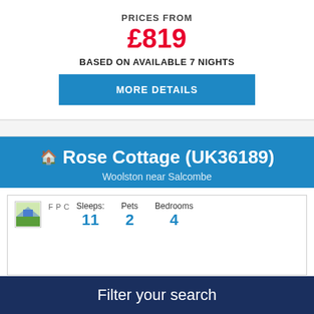PRICES FROM
£819
BASED ON AVAILABLE 7 NIGHTS
MORE DETAILS
Rose Cottage (UK36189)
Woolston near Salcombe
| Sleeps: | Pets | Bedrooms |
| --- | --- | --- |
| 11 | 2 | 4 |
Filter your search